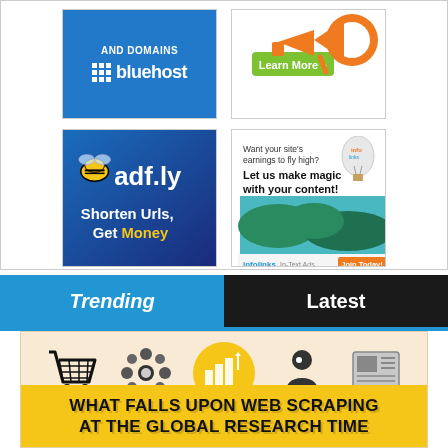[Figure (screenshot): Advertisement section with four ad boxes: Bluehost hosting ad (blue), megaphone/learn more ad, adf.ly URL shortener ad (blue gradient with bee), and Infolinks in-text ads ad]
[Figure (infographic): Navigation tab bar with Trending (blue) and Latest (dark/black) tabs]
[Figure (infographic): Infographic section with icons (shopping cart, flower/snowflake, building chart in yellow circle, person reading, newspaper) above yellow title banner reading WHAT FALLS UPON WEB SCRAPING AT THE GLOBAL RESEARCH TIME]